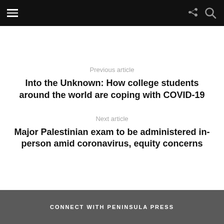Previous article
Into the Unknown: How college students around the world are coping with COVID-19
Next article
Major Palestinian exam to be administered in-person amid coronavirus, equity concerns
CONNECT WITH PENINSULA PRESS